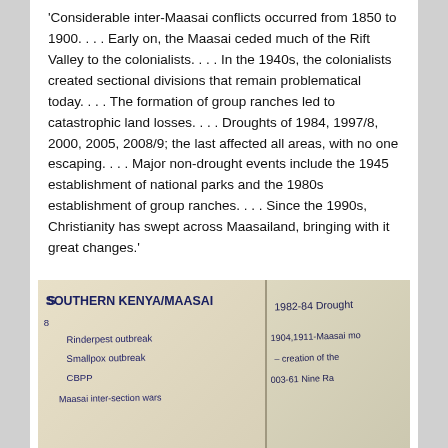'Considerable inter-Maasai conflicts occurred from 1850 to 1900. . . . Early on, the Maasai ceded much of the Rift Valley to the colonialists. . . . In the 1940s, the colonialists created sectional divisions that remain problematical today. . . . The formation of group ranches led to catastrophic land losses. . . . Droughts of 1984, 1997/8, 2000, 2005, 2008/9; the last affected all areas, with no one escaping. . . . Major non-drought events include the 1945 establishment of national parks and the 1980s establishment of group ranches. . . . Since the 1990s, Christianity has swept across Maasailand, bringing with it great changes.'
[Figure (photo): Photograph of handwritten notes on paper/cards. Left card reads 'SOUTHERN KENYA/MAASAI' with entries including '8', 'Rinderpest outbreak', 'Smallpox outbreak', 'CBPP', 'Maasai inter-section wars'. Right card reads '1982-84 Drought', '1904,1911-Maasai mo...', '- creation of the', '003-61 Nine Ra...']